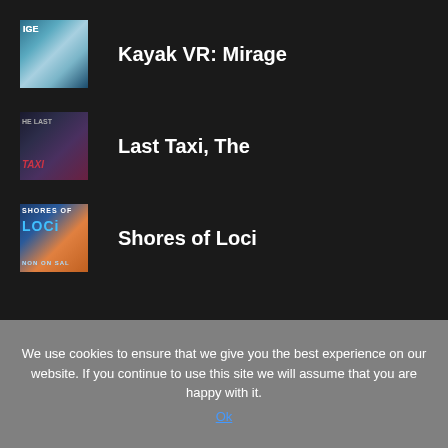Kayak VR: Mirage
Last Taxi, The
Shores of Loci
We use cookies to ensure that we give you the best experience on our website. If you continue to use this site we will assume that you are happy with it.
Ok